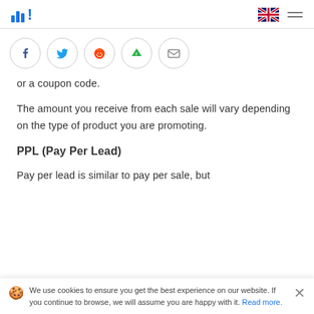In! [logo] [UK flag] [hamburger menu]
[Figure (other): Social share buttons row: Facebook, Twitter, Reddit, Feedly, Email]
or a coupon code.
The amount you receive from each sale will vary depending on the type of product you are promoting.
PPL (Pay Per Lead)
Pay per lead is similar to pay per sale, but
We use cookies to ensure you get the best experience on our website. If you continue to browse, we will assume you are happy with it. Read more.